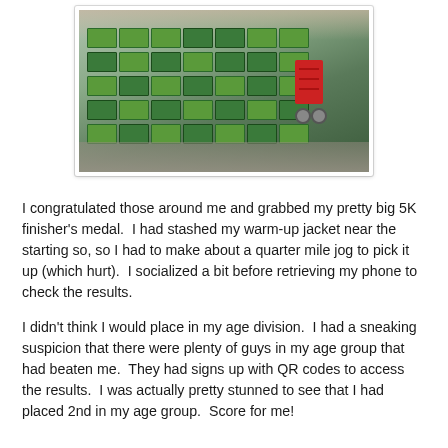[Figure (photo): Outdoor event scene showing stacked boxes (likely food items in green-labeled packaging) on tables, with a red hand truck/dolly cart visible, and people in the background wearing colorful clothing.]
I congratulated those around me and grabbed my pretty big 5K finisher's medal.  I had stashed my warm-up jacket near the starting so, so I had to make about a quarter mile jog to pick it up (which hurt).  I socialized a bit before retrieving my phone to check the results.
I didn't think I would place in my age division.  I had a sneaking suspicion that there were plenty of guys in my age group that had beaten me.  They had signs up with QR codes to access the results.  I was actually pretty stunned to see that I had placed 2nd in my age group.  Score for me!